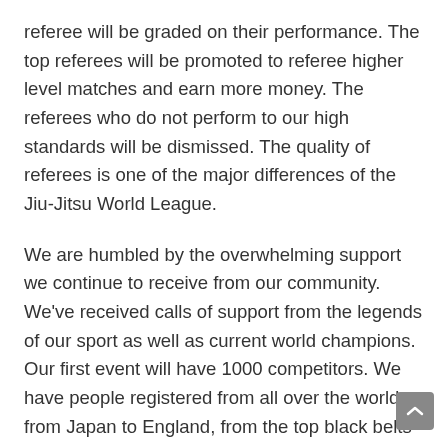referee will be graded on their performance. The top referees will be promoted to referee higher level matches and earn more money. The referees who do not perform to our high standards will be dismissed. The quality of referees is one of the major differences of the Jiu-Jitsu World League.
We are humbled by the overwhelming support we continue to receive from our community. We've received calls of support from the legends of our sport as well as current world champions. Our first event will have 1000 competitors. We have people registered from all over the world from Japan to England, from the top black belts to white belts fighting in their first tournament. This positive energy motivates us to produce the best tournament ever and to continue to innovate to bring our beloved Jiu-Jitsu on par with other global sports.
Thanks for the opportunity to answers your questions for our community.